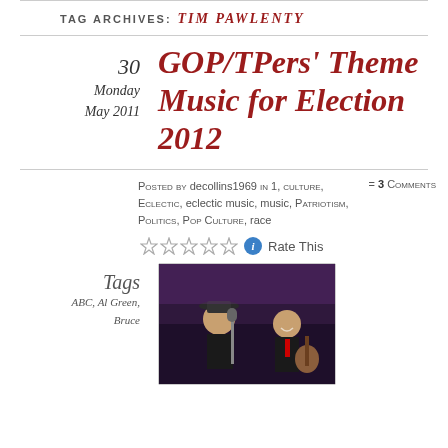TAG ARCHIVES: TIM PAWLENTY
30
Monday
May 2011
GOP/TPers' Theme Music for Election 2012
Posted by decollins1969 in 1, culture, Eclectic, eclectic music, music, Patriotism, Politics, Pop Culture, race = 3 Comments
Rate This
Tags
ABC, Al Green,
Bruce
[Figure (photo): Two men on stage, one wearing a cowboy hat performing at a microphone, another playing guitar, concert setting with purple/dark background lighting]